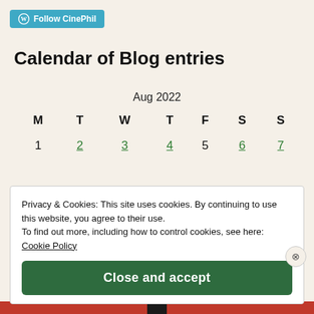[Figure (logo): Follow CinePhil button with WordPress icon]
Calendar of Blog entries
| M | T | W | T | F | S | S |
| --- | --- | --- | --- | --- | --- | --- |
| 1 | 2 | 3 | 4 | 5 | 6 | 7 |
Privacy & Cookies: This site uses cookies. By continuing to use this website, you agree to their use.
To find out more, including how to control cookies, see here: Cookie Policy
Close and accept